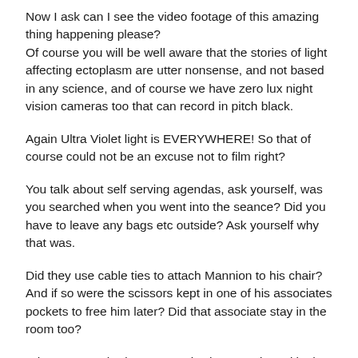Now I ask can I see the video footage of this amazing thing happening please?
Of course you will be well aware that the stories of light affecting ectoplasm are utter nonsense, and not based in any science, and of course we have zero lux night vision cameras too that can record in pitch black.
Again Ultra Violet light is EVERYWHERE! So that of course could not be an excuse not to film right?
You talk about self serving agendas, ask yourself, was you searched when you went into the seance? Did you have to leave any bags etc outside? Ask yourself why that was.
Did they use cable ties to attach Mannion to his chair? And if so were the scissors kept in one of his associates pockets to free him later? Did that associate stay in the room too?
What you watched was a magic show conducted in the dark, a well rehearsed 100% explainable magic show.